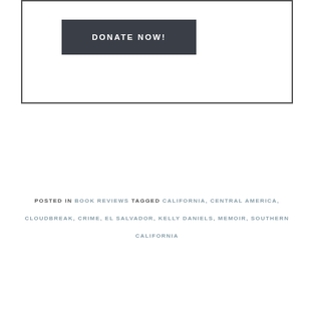[Figure (other): A bordered box containing a dark button labeled DONATE NOW!]
POSTED IN BOOK REVIEWS  TAGGED CALIFORNIA, CENTRAL AMERICA, CLOUDBREAK, CRIME, EL SALVADOR, KELLY DANIELS, MEMOIR, SOUTHERN CALIFORNIA